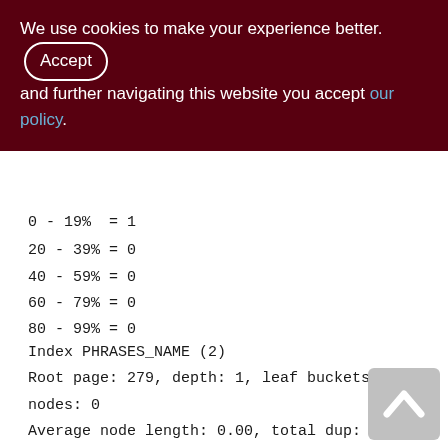We use cookies to make your experience better. By accepting and further navigating this website you accept our policy.
0 - 19% = 1
20 - 39% = 0
40 - 59% = 0
60 - 79% = 0
80 - 99% = 0
Index PHRASES_NAME (2)
Root page: 279, depth: 1, leaf buckets: 1, nodes: 0
Average node length: 0.00, total dup: 0, max dup: 0
Average key length: 0.00, compression ratio: 0.00